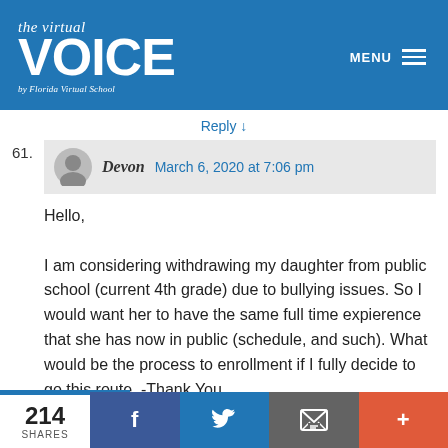the virtual VOICE by Florida Virtual School
Reply ↓
61. Devon  March 6, 2020 at 7:06 pm
Hello,
I am considering withdrawing my daughter from public school (current 4th grade) due to bullying issues. So I would want her to have the same full time expierence that she has now in public (schedule, and such). What would be the process to enrollment if I fully decide to go this route. -Thank You
Reply ↓
214 SHARES  f  Twitter  Email  +